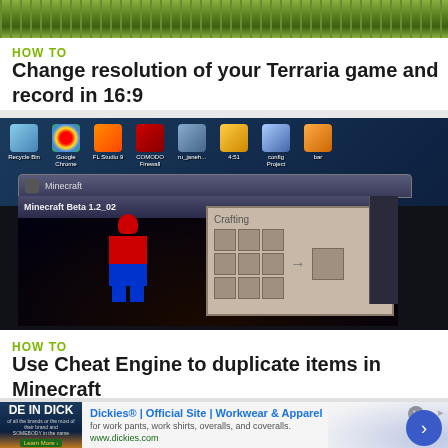[Figure (screenshot): Screenshot of Terraria game showing top HUD bar with green grass terrain]
HOW TO
Change resolution of your Terraria game and record in 16:9
[Figure (screenshot): Screenshot of a Windows desktop with icons including Chrome, FL Studio, COMODO Firewall, and a Minecraft window showing a Spiderman skin with crafting interface]
HOW TO
Use Cheat Engine to duplicate items in Minecraft
[Figure (infographic): Advertisement banner for Dickies Official Site - Workwear and Apparel with navigation button]